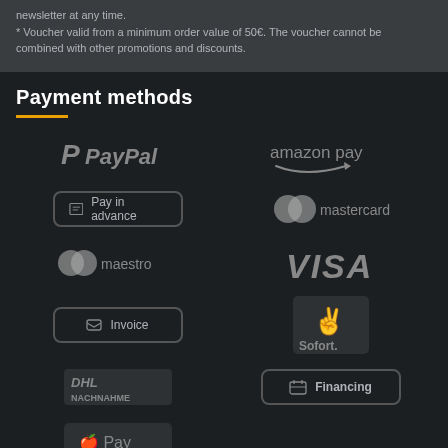* Voucher valid from a minimum order value of 50€. The voucher cannot be combined with other promotions and discounts.
Payment methods
[Figure (infographic): Payment method logos and buttons: PayPal, Amazon Pay, Pay in advance (button), Mastercard, Maestro, VISA, Invoice (button), Sofort, DHL Nachnahme, Financing (button), Apple Pay]